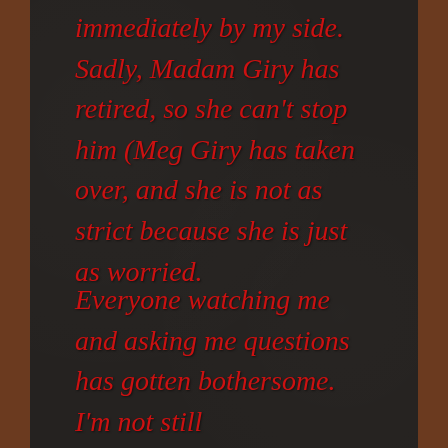immediately by my side. Sadly, Madam Giry has retired, so she can't stop him (Meg Giry has taken over, and she is not as strict because she is just as worried.
Everyone watching me and asking me questions has gotten bothersome. I'm not still communicating with the Phantom, and I wasn't at the beginning of this. The Phantom of the Opera was just a human with a horrible life, not some mysterious